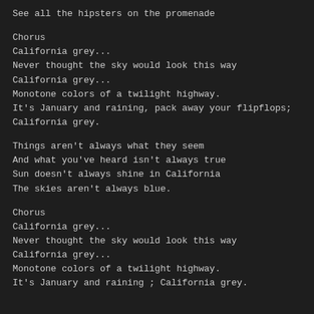See all the hipsters on the promenade
Chorus
California grey...
Never thought the sky would look this way
California grey...
Monotone colors of a twilight highway.
It's January and raining, pack away your flipflops; California grey.
Things aren't always what they seem
And what you've heard isn't always true
Sun doesn't always shine in California
The skies aren't always blue.
Chorus
California grey...
Never thought the sky would look this way
California grey...
Monotone colors of a twilight highway.
It's January and raining ; California grey.